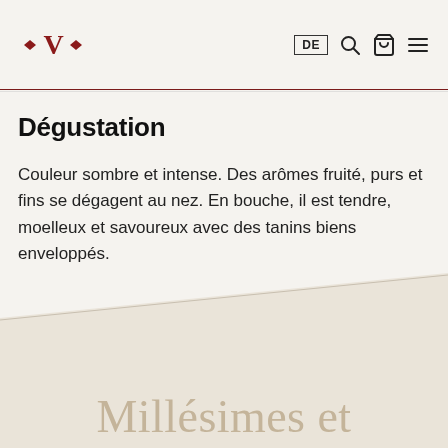V logo, DE, search, cart, menu
Dégustation
Couleur sombre et intense. Des arômes fruité, purs et fins se dégagent au nez. En bouche, il est tendre, moelleux et savoureux avec des tanins biens enveloppés.
Millésimes et